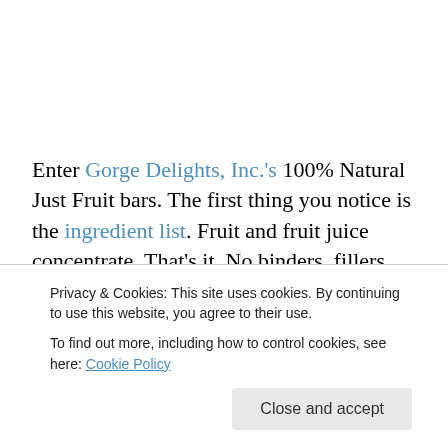Enter Gorge Delights, Inc.'s 100% Natural Just Fruit bars. The first thing you notice is the ingredient list. Fruit and fruit juice concentrate. That's it. No binders, fillers, caking agents, or science experiments that make my google spit out complex molecular formulas describing what should
Privacy & Cookies: This site uses cookies. By continuing to use this website, you agree to their use.
To find out more, including how to control cookies, see here: Cookie Policy